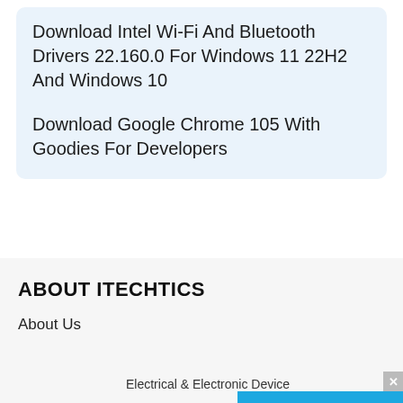Download Intel Wi-Fi And Bluetooth Drivers 22.160.0 For Windows 11 22H2 And Windows 10
Download Google Chrome 105 With Goodies For Developers
ABOUT ITECHTICS
About Us
Electrical & Electronic Device
Ad
Contact Us